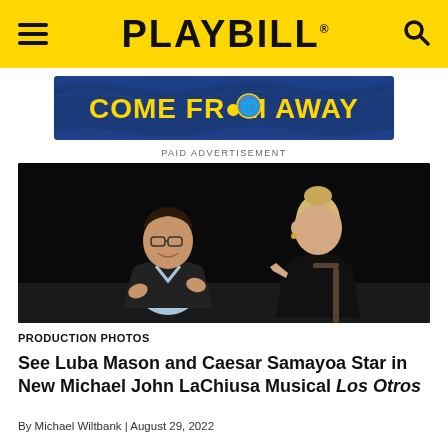PLAYBILL
[Figure (illustration): Come From Away advertisement banner with yellow text on dark blue background with wave/texture pattern]
PAID ADVERTISEMENT
[Figure (photo): Two people seated on a dark stage: a man in a dark blazer and light blue shirt wearing glasses, smiling and gesturing with his hands; a woman in a black dress with blonde hair pulled up, gesturing toward the man as if speaking.]
PRODUCTION PHOTOS
See Luba Mason and Caesar Samayoa Star in New Michael John LaChiusa Musical Los Otros
By Michael Wiltbank | August 29, 2022